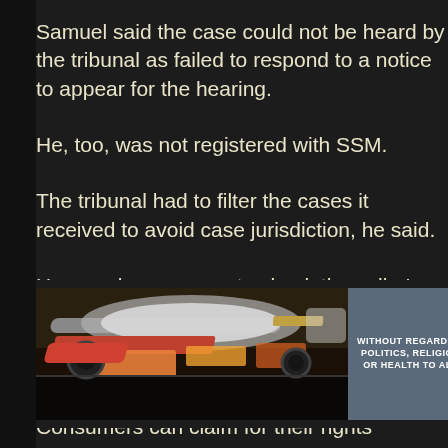Samuel said the case could not be heard by the tribunal as failed to respond to a notice to appear for the hearing.
He, too, was not registered with SSM.
The tribunal had to filter the cases it received to avoid case jurisdiction, he said.
He urged consumers to check the seller's company registra documents, full name and other details before purchasing g from getting duped.
Consumers can claim for their rights whenever they feel tha inadequate services from the seller or service providers, he from bomoh for failed exorcism
[Figure (photo): Advertisement image showing an airplane being loaded with cargo on the tarmac, with a dark blue banner reading 'WITHOUT REGARD TO POLITICS, RELIGION OR HEALTH TO ALL']